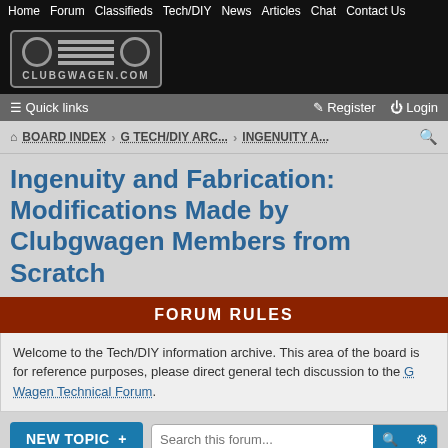Home  Forum  Classifieds  Tech/DIY  News  Articles  Chat  Contact Us
[Figure (logo): ClubGwagen.com logo with grille graphic]
≡ Quick links    Register  Login
BOARD INDEX › G TECH/DIY ARC... › INGENUITY A...
Ingenuity and Fabrication: Modifications Made by Clubgwagen Members from Scratch
FORUM RULES
Welcome to the Tech/DIY information archive. This area of the board is for reference purposes, please direct general tech discussion to the G Wagen Technical Forum.
NEW TOPIC +   Search this forum...
17 topics • Page 1 of 1
Topics